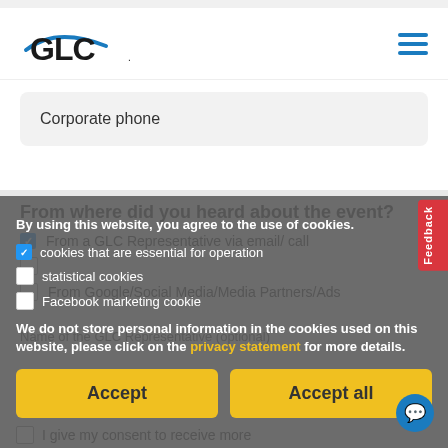[Figure (logo): GLC logo with blue swoosh and hamburger menu icon]
Corporate phone
By using this website, you agree to the use of cookies.
cookies that are essential for operation
statistical cookies
Facebook marketing cookie
We do not store personal information in the cookies used on this website, please click on the privacy statement for more details.
From where did you heard about the event?
From a GLC Representative via email/ call
From Google/Social Media/Media Partners/Ads
Name of the GLC Representative (optional)
Accept
Accept all
I give my consent to receive more